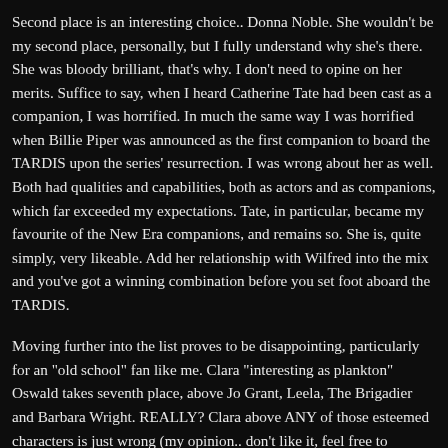Second place is an interesting choice.. Donna Noble. She wouldn't be my second place, personally, but I fully understand why she's there. She was bloody brilliant, that's why. I don't need to opine on her merits. Suffice to say, when I heard Catherine Tate had been cast as a companion, I was horrified. In much the same way I was horrified when Billie Piper was announced as the first companion to board the TARDIS upon the series' resurrection. I was wrong about her as well. Both had qualities and capabilities, both as actors and as companions, which far exceeded my expectations. Tate, in particular, became my favourite of the New Era companions, and remains so. She is, quite simply, very likeable. Add her relationship with Wilfred into the mix and you've got a winning combination before you set foot aboard the TARDIS.
Moving further into the list proves to be disappointing, particularly for an "old school" fan like me. Clara "interesting as plankton" Oswald takes seventh place, above Jo Grant, Leela, The Brigadier and Barbara Wright. REALLY? Clara above ANY of those esteemed characters is just wrong (my opinion.. don't like it, feel free to comment. Or to fuck off. Your choice!). Barbara is, was, and always will be the "First Lady" of time travel. Much as Moffat